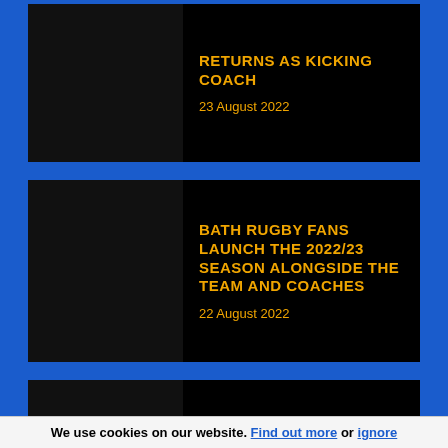RETURNS AS KICKING COACH
23 August 2022
BATH RUGBY FANS LAUNCH THE 2022/23 SEASON ALONGSIDE THE TEAM AND COACHES
22 August 2022
THE DOUBLE HEADER TO RETURN IN OCTOBER!
22 August 2022
We use cookies on our website. Find out more or ignore